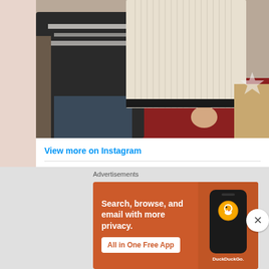[Figure (photo): Instagram post photo showing two people wearing sweaters - one with a black and white Nordic/Fair Isle pattern and one with a cream ribbed sweater, sitting in a living room with a patterned rug and holiday decorations]
View more on Instagram
10,098 likes
[Figure (advertisement): DuckDuckGo advertisement banner with orange background showing text 'Search, browse, and email with more privacy. All in One Free App' with phone mockup showing DuckDuckGo app]
Advertisements